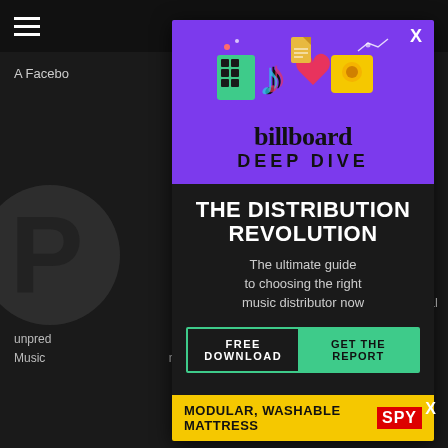≡   UBSCRIBE
A Facebo... on on Nov.
[Figure (screenshot): Billboard Deep Dive advertisement overlay. Top purple section with TikTok and social media app icons illustration. Billboard logo in large serif font, 'DEEP DIVE' in bold uppercase sans-serif. Dark section below with headline 'THE DISTRIBUTION REVOLUTION', subtext 'The ultimate guide to choosing the right music distributor now', CTA buttons 'FREE DOWNLOAD | GET THE REPORT' in teal border. Yellow bottom banner 'MODULAR, WASHABLE MATTRESS' with SPY logo.]
P
o social
unpred... rsal Music... makes